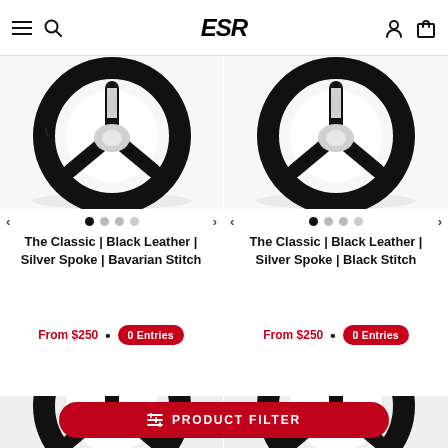ESR
[Figure (photo): Steering wheel product photo - The Classic Black Leather Silver Spoke Bavarian Stitch]
The Classic | Black Leather | Silver Spoke | Bavarian Stitch
From $250 • 0 Entries
[Figure (photo): Steering wheel product photo - The Classic Black Leather Silver Spoke Black Stitch]
The Classic | Black Leather | Silver Spoke | Black Stitch
From $250 • 0 Entries
[Figure (photo): Steering wheel product photo - partial bottom left]
[Figure (photo): Steering wheel product photo - partial bottom right]
PRODUCT FILTER